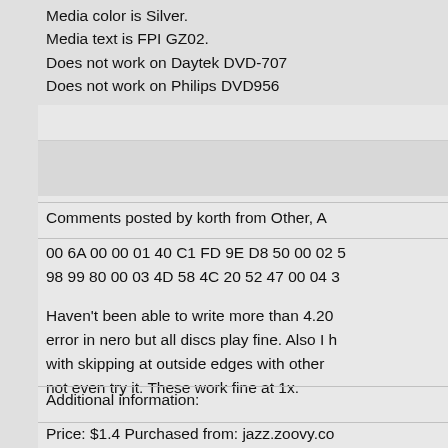Media color is Silver.
Media text is FPI GZ02.
Does not work on Daytek DVD-707
Does not work on Philips DVD956
Comments posted by korth from Other, A
00 6A 00 00 01 40 C1 FD 9E D8 50 00 02 5
98 99 80 00 03 4D 58 4C 20 52 47 00 04 3
Haven't been able to write more than 4.20 error in nero but all discs play fine. Also I h with skipping at outside edges with other not even try it. These work fine at 1x.
Additional information:
Price: $1.4 Purchased from: jazz.zoovy.co